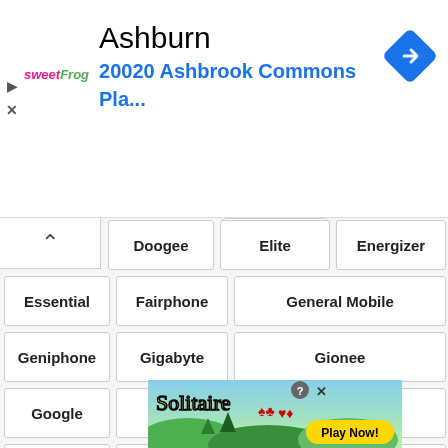[Figure (screenshot): Advertisement banner showing sweetFrog logo with text 'Ashburn' and '20020 Ashbrook Commons Pla...' with a blue navigation diamond icon]
Doogee
Elite
Energizer
Essential
Fairphone
General Mobile
Geniphone
Gigabyte
Gionee
Google
Haier
Helio
Hisense
Honor
HP
HTC
Huawei
Infinix
Intex
Itel
JioPhone
K...
[Figure (screenshot): Solitaire game advertisement overlay with Play Now button]